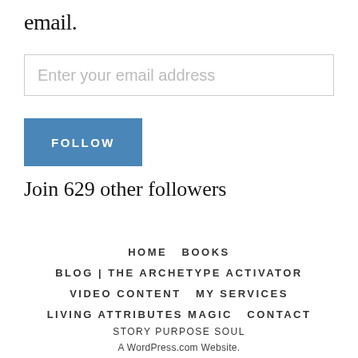email.
Enter your email address
FOLLOW
Join 629 other followers
HOME   BOOKS
BLOG | THE ARCHETYPE ACTIVATOR
VIDEO CONTENT   MY SERVICES
LIVING ATTRIBUTES MAGIC   CONTACT
STORY PURPOSE SOUL
A WordPress.com Website.